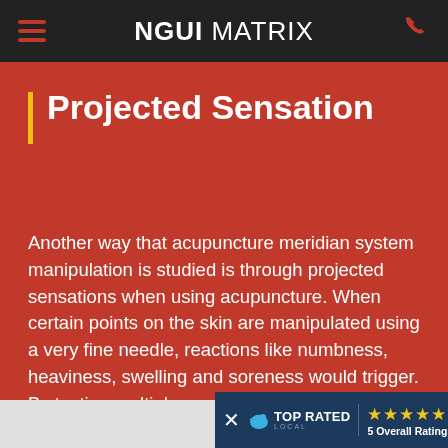NGUI MATRIX
Projected Sensation
Another way that acupuncture meridian system manipulation is studied is through projected sensations when using acupuncture. When certain points on the skin are manipulated using a very fine needle, reactions like numbness, heaviness, swelling and soreness would trigger. By testing multiple areas with diligence, certain areas were associated with certain feelings and how to eradicate them.
[Figure (logo): Top Rated Local badge with 5 star rating and text '5 Overall Rating']